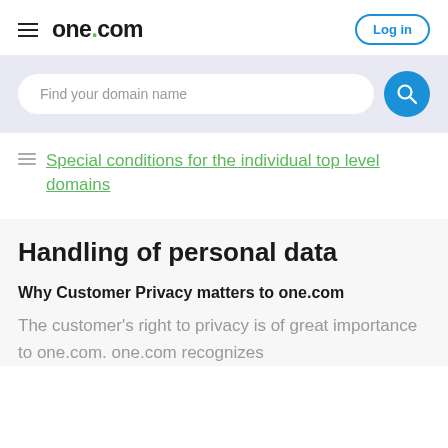one.com — Log in
[Figure (screenshot): Search bar with placeholder text 'Find your domain name' and a blue circular search button]
Special conditions for the individual top level domains
Handling of personal data
Why Customer Privacy matters to one.com
The customer's right to privacy is of great importance to one.com. one.com recognizes